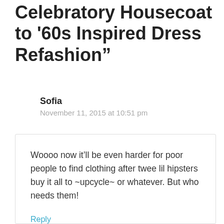Celebratory Housecoat to '60s Inspired Dress Refashion”
Sofia
November 11, 2015 at 10:51 pm
Woooo now it’ll be even harder for poor people to find clothing after twee lil hipsters buy it all to ~upcycle~ or whatever. But who needs them!
Reply